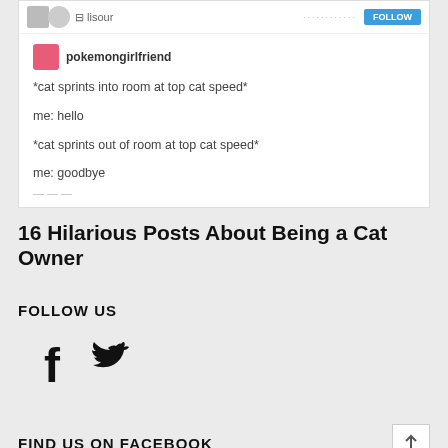[Figure (screenshot): Screenshot of a Tumblr post. Top bar shows a user avatar, 'lisour' username, dots and a Follow button. Below is a post by 'pokemongirlfriend' with text: *cat sprints into room at top cat speed* / me: hello / *cat sprints out of room at top cat speed* / me: goodbye]
16 Hilarious Posts About Being a Cat Owner
FOLLOW US
[Figure (infographic): Facebook and Twitter social media icons]
FIND US ON FACEBOOK